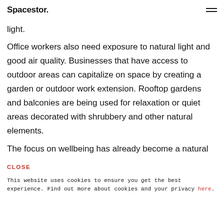Spacestor.
light.
Office workers also need exposure to natural light and good air quality. Businesses that have access to outdoor areas can capitalize on space by creating a garden or outdoor work extension. Rooftop gardens and balconies are being used for relaxation or quiet areas decorated with shrubbery and other natural elements.
The focus on wellbeing has already become a natural
CLOSE
This website uses cookies to ensure you get the best experience. Find out more about cookies and your privacy here.